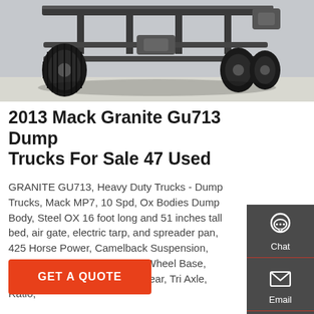[Figure (photo): Underside/undercarriage view of a dump truck showing axles, tires, and frame from below]
2013 Mack Granite Gu713 Dump Trucks For Sale 47 Used
GRANITE GU713, Heavy Duty Trucks - Dump Trucks, Mack MP7, 10 Spd, Ox Bodies Dump Body, Steel OX 16 foot long and 51 inches tall bed, air gate, electric tarp, and spreader pan, 425 Horse Power, Camelback Suspension, Aluminum/Steel Wheels, 224 Wheel Base, 425/65R22.5 Front 11R24.5 Rear, Tri Axle, Ratio,
GET A QUOTE